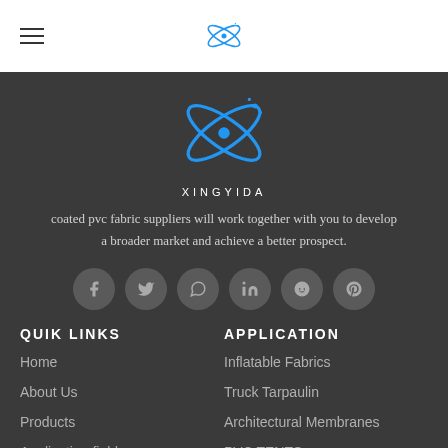[Figure (logo): Hamburger menu icon (three lines) on the left, and a small blue atomic/orbital logo in the center of the white navigation bar]
[Figure (logo): Large blue Xingyida orbital/atomic logo with stars on dark background, with text XINGYIDA below]
coated pvc fabric suppliers will work together with you to develop a broader market and achieve a better prospect.
[Figure (infographic): Row of 6 circular social media icons: Facebook, Twitter, WhatsApp, LinkedIn, Reddit, Pinterest]
QUIK LINKS
APPLICATION
Home
Inflatable Fabrics
About Us
Truck Tarpaulin
Products
Architectural Membranes
Application field
PVC TENTS